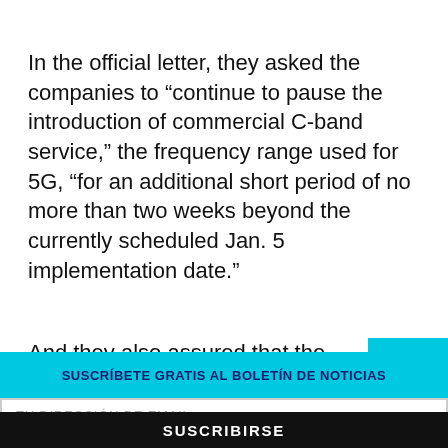In the official letter, they asked the companies to “continue to pause the introduction of commercial C-band service,” the frequency range used for 5G, “for an additional short period of no more than two weeks beyond the currently scheduled Jan. 5 implementation date.”
And they also assured that the service cou start “as scheduled in January, with certain
SUSCRÍBETE GRATIS AL BOLETÍN DE NOTICIAS
TU DIRECCIÓN DE EMAIL
SUSCRIBIRSE